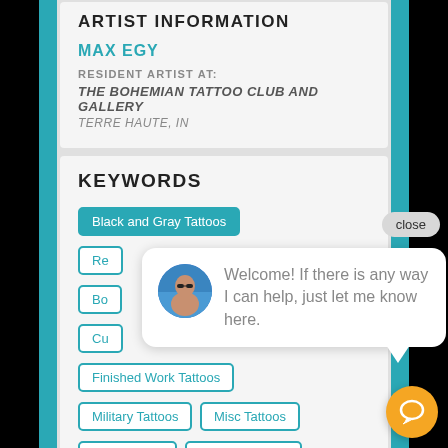ARTIST INFORMATION
MAX EGY
RESIDENT ARTIST AT:
THE BOHEMIAN TATTOO CLUB AND GALLERY
TERRE HAUTE, IN
KEYWORDS
Black and Gray Tattoos
Re
Bo
Cu
Finished Work Tattoos
Military Tattoos
Misc Tattoos
New Tattoos
Vintage Tattoos
Welcome! If there is any way I can help, just let me know here.